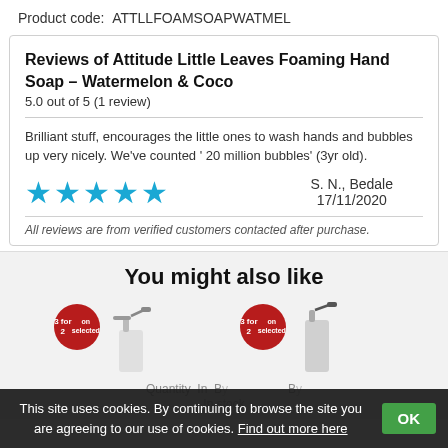Product code:  ATTLLFOAMSOAPWATMEL
Reviews of Attitude Little Leaves Foaming Hand Soap – Watermelon & Coco
5.0 out of 5 (1 review)
Brilliant stuff, encourages the little ones to wash hands and bubbles up very nicely. We've counted ' 20 million bubbles' (3yr old).
S. N., Bedale
17/11/2020
All reviews are from verified customers contacted after purchase.
You might also like
[Figure (screenshot): Two product images with '3 for 2' promotional badges and pump dispenser bottles shown partially]
This site uses cookies. By continuing to browse the site you are agreeing to our use of cookies. Find out more here  OK